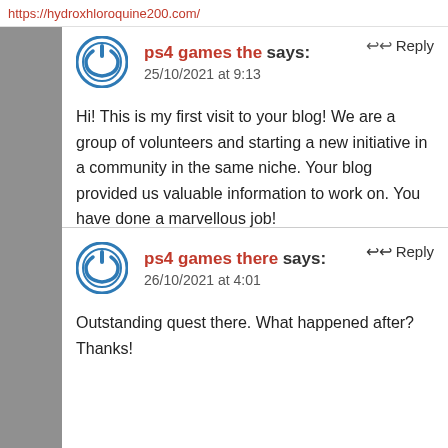https://hydroxhloroquine200.com/
ps4 games the says:
25/10/2021 at 9:13
Hi! This is my first visit to your blog! We are a group of volunteers and starting a new initiative in a community in the same niche. Your blog provided us valuable information to work on. You have done a marvellous job!
ps4 games there says:
26/10/2021 at 4:01
Outstanding quest there. What happened after? Thanks!